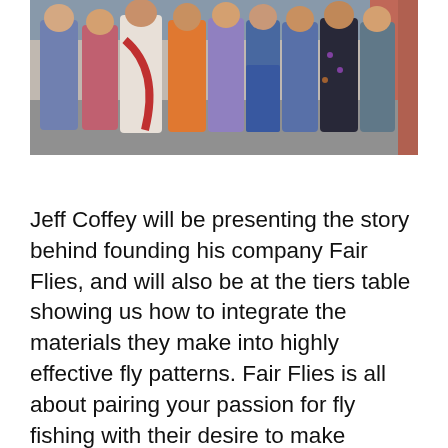[Figure (photo): A group of people standing together outdoors, wearing colorful clothing including traditional South Asian attire.]
Jeff Coffey will be presenting the story behind founding his company Fair Flies, and will also be at the tiers table showing us how to integrate the materials they make into highly effective fly patterns. Fair Flies is all about pairing your passion for fly fishing with their desire to make positive impacts with communities around the world. Their suppliers are committed to bettering the lives of the people they employ, be that with young people who need direction and purpose to stay out of crime, widows who need help providing for their children, victims of exploitation who need to be rehabilitated, or simply parents whose children are at risk of being sold into slavery. Obtaining regular orders